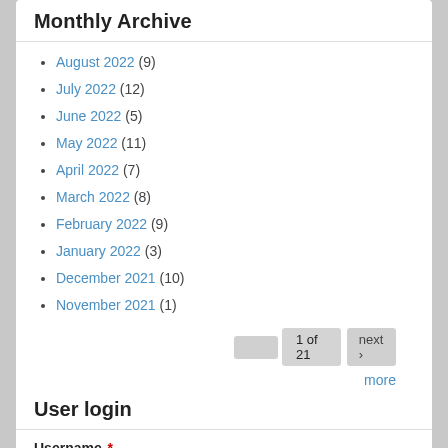Monthly Archive
August 2022 (9)
July 2022 (12)
June 2022 (5)
May 2022 (11)
April 2022 (7)
March 2022 (8)
February 2022 (9)
January 2022 (3)
December 2021 (10)
November 2021 (1)
1 of 21   next ›   more
User login
Username *